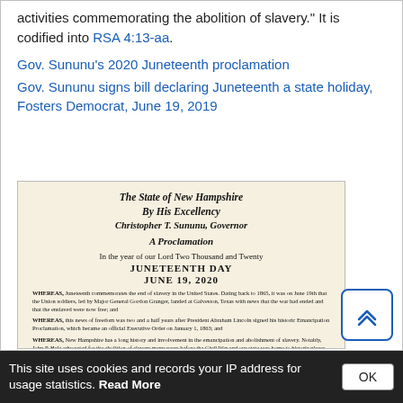activities commemorating the abolition of slavery." It is codified into RSA 4:13-aa.
Gov. Sununu's 2020 Juneteenth proclamation
Gov. Sununu signs bill declaring Juneteenth a state holiday, Fosters Democrat, June 19, 2019
[Figure (photo): Scanned image of The State of New Hampshire Juneteenth Day proclamation by Governor Christopher T. Sununu, June 19, 2020, with WHEREAS clauses on cream-colored paper.]
This site uses cookies and records your IP address for usage statistics. Read More OK